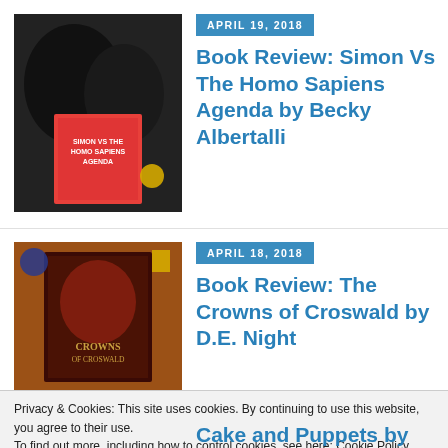[Figure (photo): Photo of a black cat next to a book titled Simon Vs The Homo Sapiens Agenda]
APRIL 19, 2018
Book Review: Simon Vs The Homo Sapiens Agenda by Becky Albertalli
[Figure (photo): Photo of The Crowns of Croswald book cover displayed on a decorative background]
APRIL 18, 2018
Book Review: The Crowns of Croswald by D.E. Night
Privacy & Cookies: This site uses cookies. By continuing to use this website, you agree to their use.
To find out more, including how to control cookies, see here: Cookie Policy
Close and accept
Cake and Puppets by